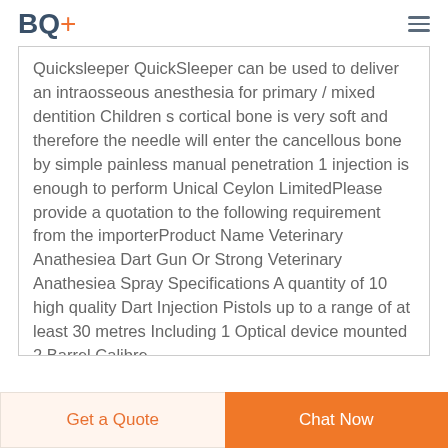BQ+
Quicksleeper QuickSleeper can be used to deliver an intraosseous anesthesia for primary / mixed dentition Children s cortical bone is very soft and therefore the needle will enter the cancellous bone by simple painless manual penetration 1 injection is enough to perform Unical Ceylon LimitedPlease provide a quotation to the following requirement from the importerProduct Name Veterinary Anathesiea Dart Gun Or Strong Veterinary Anathesiea Spray Specifications A quantity of 10 high quality Dart Injection Pistols up to a range of at least 30 metres Including 1 Optical device mounted 2 Barrel Calibre